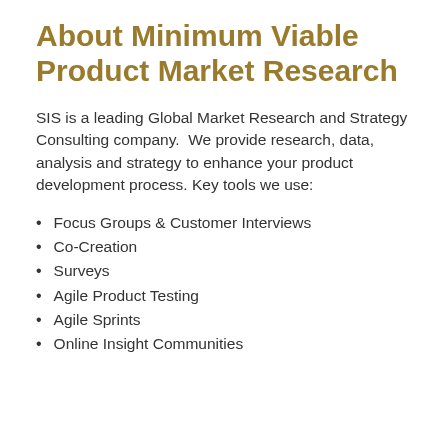About Minimum Viable Product Market Research
SIS is a leading Global Market Research and Strategy Consulting company.  We provide research, data, analysis and strategy to enhance your product development process. Key tools we use:
Focus Groups & Customer Interviews
Co-Creation
Surveys
Agile Product Testing
Agile Sprints
Online Insight Communities